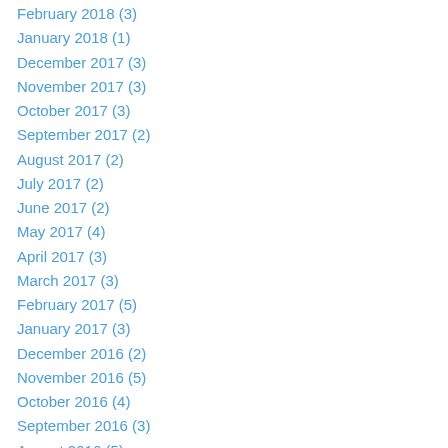February 2018 (3)
January 2018 (1)
December 2017 (3)
November 2017 (3)
October 2017 (3)
September 2017 (2)
August 2017 (2)
July 2017 (2)
June 2017 (2)
May 2017 (4)
April 2017 (3)
March 2017 (3)
February 2017 (5)
January 2017 (3)
December 2016 (2)
November 2016 (5)
October 2016 (4)
September 2016 (3)
August 2016 (5)
July 2016 (3)